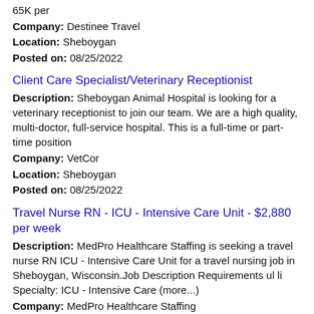65K per
Company: Destinee Travel
Location: Sheboygan
Posted on: 08/25/2022
Client Care Specialist/Veterinary Receptionist
Description: Sheboygan Animal Hospital is looking for a veterinary receptionist to join our team. We are a high quality, multi-doctor, full-service hospital. This is a full-time or part-time position
Company: VetCor
Location: Sheboygan
Posted on: 08/25/2022
Travel Nurse RN - ICU - Intensive Care Unit - $2,880 per week
Description: MedPro Healthcare Staffing is seeking a travel nurse RN ICU - Intensive Care Unit for a travel nursing job in Sheboygan, Wisconsin.Job Description Requirements ul li Specialty: ICU - Intensive Care (more...)
Company: MedPro Healthcare Staffing
Location: Sheboygan
Posted on: 08/25/2022
Starbucks BaristaCustomer Service Associate